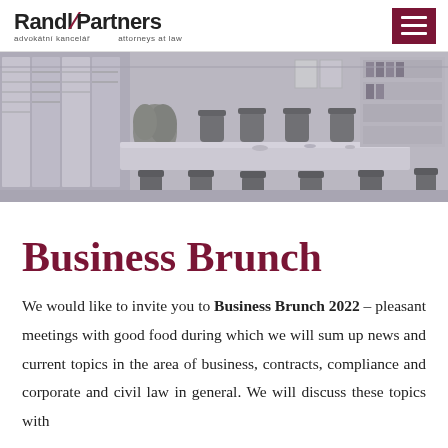Randl Partners – advokátní kancelář / attorneys at law
[Figure (photo): Black and white photo of a modern conference room with a long white table, grey chairs, large windows, potted plant, and office shelving in the background.]
Business Brunch
We would like to invite you to Business Brunch 2022 – pleasant meetings with good food during which we will sum up news and current topics in the area of business, contracts, compliance and corporate and civil law in general. We will discuss these topics with